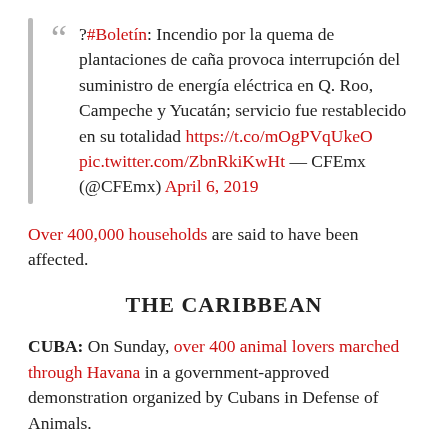?#Boletín: Incendio por la quema de plantaciones de caña provoca interrupción del suministro de energía eléctrica en Q. Roo, Campeche y Yucatán; servicio fue restablecido en su totalidad https://t.co/mOgPVqUkeO pic.twitter.com/ZbnRkiKwHt — CFEmx (@CFEmx) April 6, 2019
Over 400,000 households are said to have been affected.
THE CARIBBEAN
CUBA: On Sunday, over 400 animal lovers marched through Havana in a government-approved demonstration organized by Cubans in Defense of Animals.